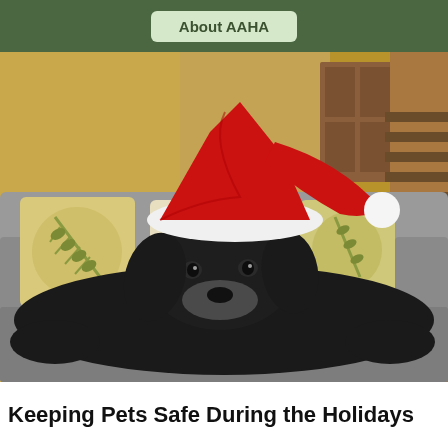About AAHA
[Figure (photo): A black dog wearing a red and white Santa hat lying stretched out on a grey sofa with decorative pillows and a warm-toned interior background]
Keeping Pets Safe During the Holidays